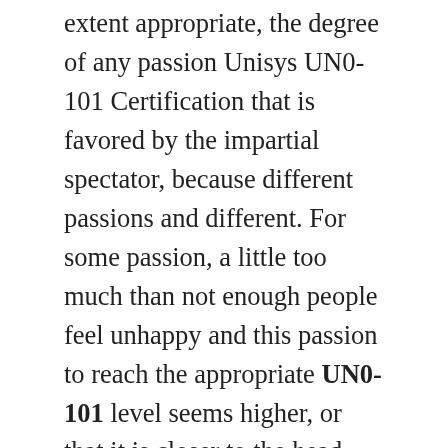extent appropriate, the degree of any passion Unisys UN0-101 Certification that is favored by the impartial spectator, because different passions and different. For some passion, a little too much than not enough people feel unhappy and this passion to reach the appropriate UN0-101 level seems higher, or that it is closer to the head, not too much less than the 070-516-CSHARP head. For others it is the passion, too much less than some people unhappy and this passion to reach the appropriate level seems low, or that it is